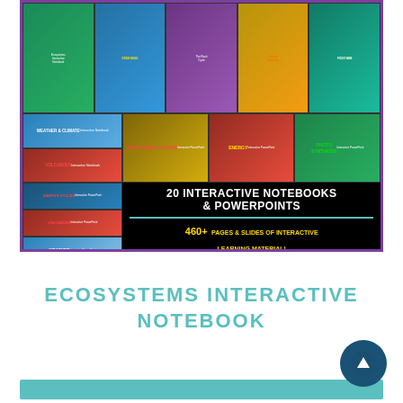[Figure (illustration): Composite promotional image showing 20 Interactive Notebooks & PowerPoints educational bundle. Shows grid of thumbnail previews for Weather & Climate, Volcanoes, Rocks-Minerals-Gems, Energy, Photosynthesis, Earth's Cycles, and more. Center panel on black background reads '20 INTERACTIVE NOTEBOOKS & POWERPOINTS' and '460+ PAGES & SLIDES OF INTERACTIVE LEARNING MATERIAL!' with description of contents.]
ECOSYSTEMS INTERACTIVE NOTEBOOK